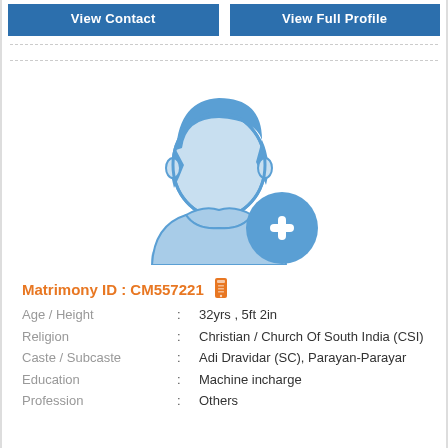[Figure (screenshot): View Contact and View Full Profile buttons at the top]
[Figure (illustration): Generic male profile silhouette icon in blue with a blue circle plus/add button overlay]
Matrimony ID : CM557221
Age / Height : 32yrs , 5ft 2in
Religion : Christian / Church Of South India (CSI)
Caste / Subcaste : Adi Dravidar (SC), Parayan-Parayar
Education : Machine incharge
Profession : Others